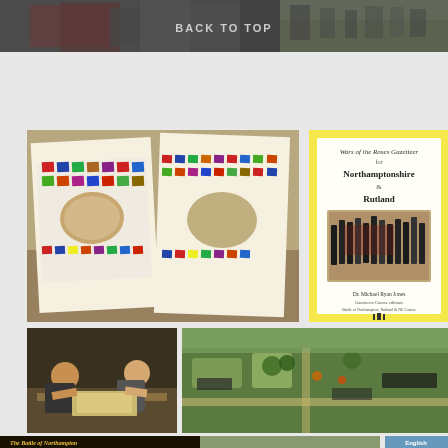[Figure (photo): Top banner with 'BACK TO TOP' text overlaid on partially visible photos — left side shows armor/costumes, right side shows people on a field]
[Figure (photo): Large photo of two colorful battle-of-Northampton themed poster/flag sheets laid on a table]
[Figure (photo): Book cover: 'Wars of the Roses Gazetteer for Northamptonshire & Rutland' by Dr. Michael Ryan Jones, yellow background, with illustration of soldiers]
[Figure (photo): Photo of children/people at a table playing a board game or examining materials]
[Figure (photo): Photo of a miniature wargame battlefield with figures and terrain on a green board]
[Figure (photo): Bottom strip: partial view of 'The Battle of Northampton' title card (dark background, yellow text), middle and right images partially visible, and an 'English' button]